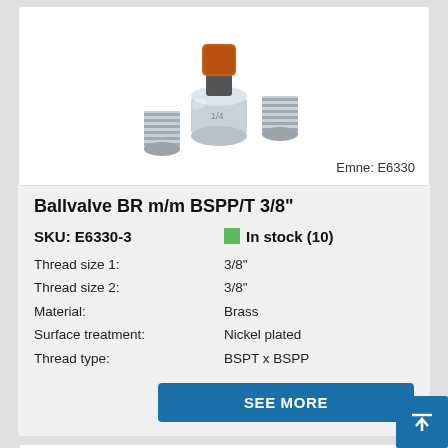[Figure (photo): Chrome ball valve with black lever handle and threaded male ends, nickel plated brass body. Product photo on white background.]
Emne: E6330
Ballvalve BR m/m BSPP/T 3/8"
SKU: E6330-3
In stock (10)
Thread size 1: 3/8"
Thread size 2: 3/8"
Material: Brass
Surface treatment: Nickel plated
Thread type: BSPT x BSPP
SEE MORE
[Figure (photo): Partial view of another ball valve product, partially cut off at bottom of page.]